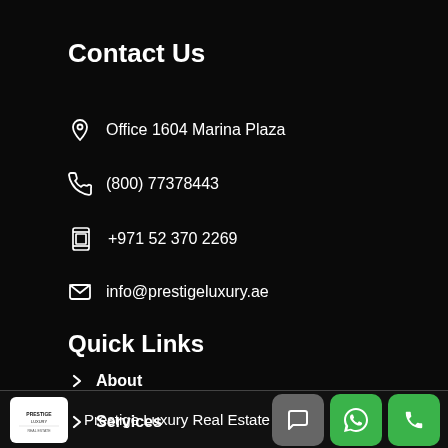Contact Us
Office 1604 Marina Plaza
(800) 77378443
+971 52 370 2269
info@prestigeluxury.ae
Quick Links
About
Services
Prestige Luxury Real Estate